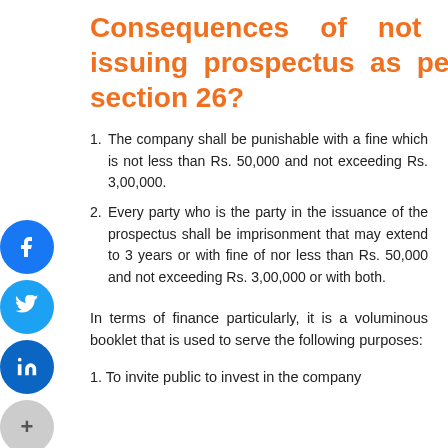Consequences of not issuing prospectus as per section 26?
The company shall be punishable with a fine which is not less than Rs. 50,000 and not exceeding Rs. 3,00,000.
Every party who is the party in the issuance of the prospectus shall be imprisonment that may extend to 3 years or with fine of nor less than Rs. 50,000 and not exceeding Rs. 3,00,000 or with both.
In terms of finance particularly, it is a voluminous booklet that is used to serve the following purposes:
To invite public to invest in the company